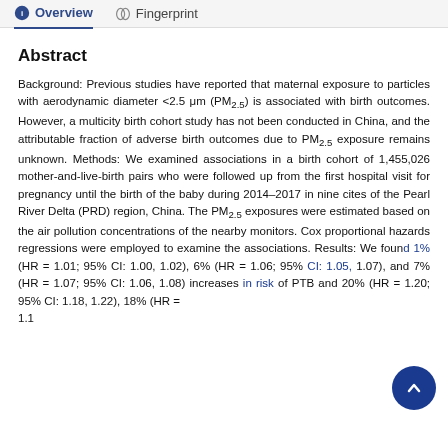Overview   Fingerprint
Abstract
Background: Previous studies have reported that maternal exposure to particles with aerodynamic diameter <2.5 μm (PM2.5) is associated with birth outcomes. However, a multicity birth cohort study has not been conducted in China, and the attributable fraction of adverse birth outcomes due to PM2.5 exposure remains unknown. Methods: We examined associations in a birth cohort of 1,455,026 mother-and-live-birth pairs who were followed up from the first hospital visit for pregnancy until the birth of the baby during 2014–2017 in nine cites of the Pearl River Delta (PRD) region, China. The PM2.5 exposures were estimated based on the air pollution concentrations of the nearby monitors. Cox proportional hazards regressions were employed to examine the associations. Results: We found 1% (HR = 1.01; 95% CI: 1.00, 1.02), 6% (HR = 1.06; 95% CI: 1.05, 1.07), and 7% (HR = 1.07; 95% CI: 1.06, 1.08) increases in risk of PTB and 20% (HR = 1.20; 95% CI: 1.18, 1.22), 18% (HR = 1.16; 95% CI: 1.15, 1.16) and 20% (HR = 1.20; 95% CI: 1.17